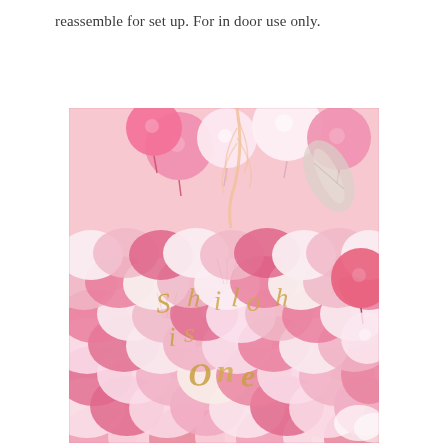reassemble for set up. For in door use only.
[Figure (photo): A decorative party backdrop display featuring layers of pink and white paper fans and tropical leaf cutouts, with pink and white balloons arching over the top. Gold letter decorations spell out text in the center of the backdrop, with feather decorations and glittery silver leaf accents visible.]